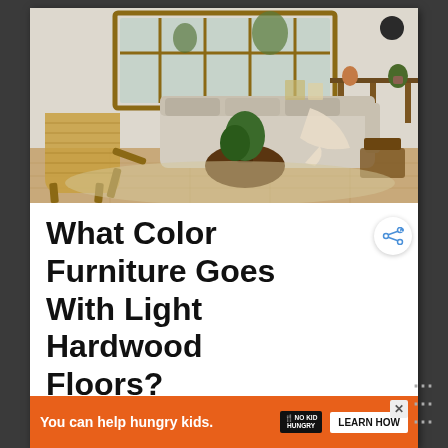[Figure (photo): Interior living room photo showing a Scandinavian/boho style room with light hardwood floors, beige sectional sofa with throw blanket, wooden rattan accent chair, round dark wood coffee table with monstera plant, large mirror with wooden frame on wall, and dining area in background]
What Color Furniture Goes With Light Hardwood Floors?
[Figure (infographic): WHAT'S NEXT panel showing Kit Homes | 10 Kits to Build... with a small illustration of a person building a home]
[Figure (infographic): Advertisement banner: You can help hungry kids. NO KID HUNGRY logo. LEARN HOW button.]